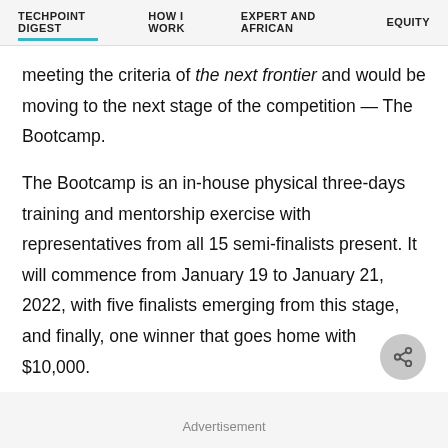TECHPOINT DIGEST   HOW I WORK   EXPERT AND AFRICAN   EQUITY
meeting the criteria of the next frontier and would be moving to the next stage of the competition — The Bootcamp.
The Bootcamp is an in-house physical three-days training and mentorship exercise with representatives from all 15 semi-finalists present. It will commence from January 19 to January 21, 2022, with five finalists emerging from this stage, and finally, one winner that goes home with $10,000.
Advertisement